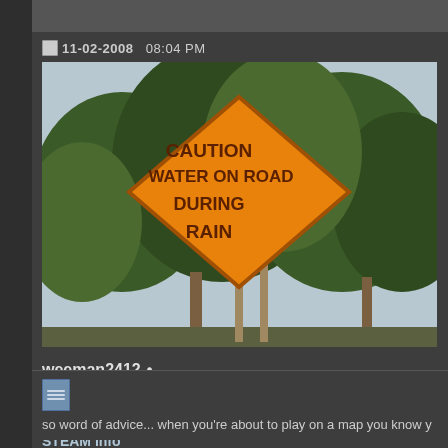11-02-2008   08:04 PM
[Figure (photo): A caution sign reading 'CAUTION WATER ON ROAD DURING RAIN' set against a backdrop of green trees.]
weeman2412 •
IBIS Master
Progress 10%
STEAM info
so word of advice... when you're about to play on a map you know y